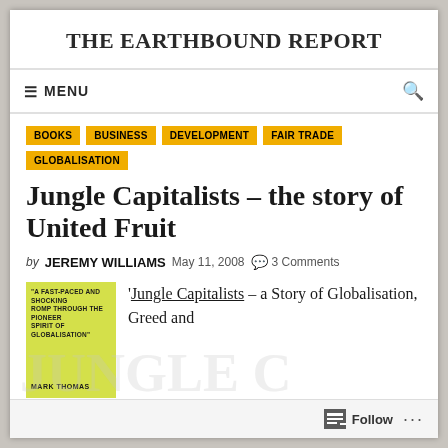THE EARTHBOUND REPORT
Jungle Capitalists – the story of United Fruit
by JEREMY WILLIAMS  May 11, 2008  3 Comments
BOOKS
BUSINESS
DEVELOPMENT
FAIR TRADE
GLOBALISATION
[Figure (photo): Book cover of Jungle Capitalists by Mark Thomas, yellow/green cover with text]
'Jungle Capitalists – a Story of Globalisation, Greed and